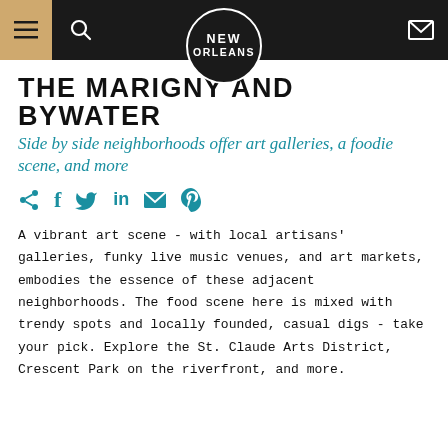New Orleans — navigation bar with logo
THE MARIGNY AND BYWATER
Side by side neighborhoods offer art galleries, a foodie scene, and more
A vibrant art scene - with local artisans' galleries, funky live music venues, and art markets, embodies the essence of these adjacent neighborhoods. The food scene here is mixed with trendy spots and locally founded, casual digs - take your pick. Explore the St. Claude Arts District, Crescent Park on the riverfront, and more.